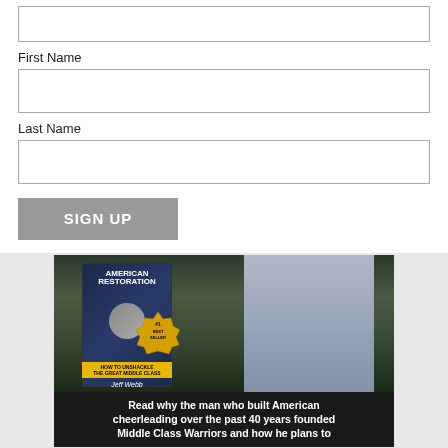First Name
Last Name
SIGN UP
[Figure (photo): Book cover of 'American Restoration' by Jeff Webb with a #1 Best Seller badge, alongside a photo of Jeff Webb (man with arms crossed in a light blue shirt), with a dark caption bar at the bottom.]
Read why the man who built American cheerleading over the past 40 years founded Middle Class Warriors and how he plans to